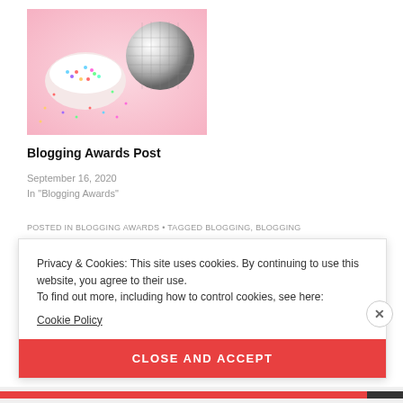[Figure (photo): Pink background with a white bowl containing colorful sprinkles and a disco/mirror ball, on a pink fabric surface]
Blogging Awards Post
September 16, 2020
In "Blogging Awards"
POSTED IN BLOGGING AWARDS • TAGGED BLOGGING, BLOGGING
Privacy & Cookies: This site uses cookies. By continuing to use this website, you agree to their use.
To find out more, including how to control cookies, see here:
Cookie Policy
CLOSE AND ACCEPT